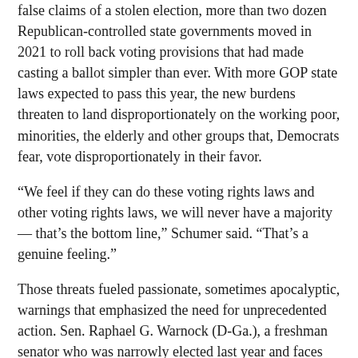false claims of a stolen election, more than two dozen Republican-controlled state governments moved in 2021 to roll back voting provisions that had made casting a ballot simpler than ever. With more GOP state laws expected to pass this year, the new burdens threaten to land disproportionately on the working poor, minorities, the elderly and other groups that, Democrats fear, vote disproportionately in their favor.
“We feel if they can do these voting rights laws and other voting rights laws, we will never have a majority — that’s the bottom line,” Schumer said. “That’s a genuine feeling.”
Those threats fueled passionate, sometimes apocalyptic, warnings that emphasized the need for unprecedented action. Sen. Raphael G. Warnock (D-Ga.), a freshman senator who was narrowly elected last year and faces reelection this year in a state that tightened its voting laws, called the situation “Jim Crow 2.0” and a “911 emergency” for American democracy.